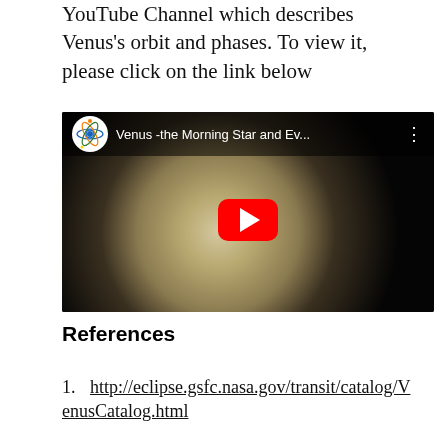YouTube Channel which describes Venus's orbit and phases. To view it, please click on the link below
[Figure (screenshot): YouTube video player thumbnail showing 'Venus -the Morning Star and Ev...' with a large red play button in the center over an image of Venus.]
References
1. http://eclipse.gsfc.nasa.gov/transit/catalog/VenusCatalog.html